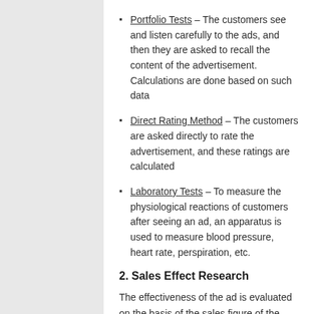Portfolio Tests – The customers see and listen carefully to the ads, and then they are asked to recall the content of the advertisement. Calculations are done based on such data
Direct Rating Method – The customers are asked directly to rate the advertisement, and these ratings are calculated
Laboratory Tests – To measure the physiological reactions of customers after seeing an ad, an apparatus is used to measure blood pressure, heart rate, perspiration, etc.
2. Sales Effect Research
The effectiveness of the ad is evaluated on the basis of the sales figure of the company, through questionnaires, product surveys, recognition tests, toll free numbers, and response rates.
3. Analysis Tests